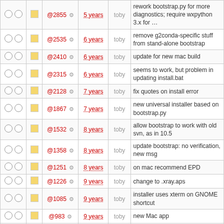|  |  | ID | Age | Author | Message |
| --- | --- | --- | --- | --- | --- |
| ○ ○ | □ | @2855 ⚙ | 5 years | toby | rework bootstrap.py for more diagnostics; require wxpython 3.x for … |
| ○ ○ | □ | @2535 ⚙ | 6 years | toby | remove g2conda-specific stuff from stand-alone bootstrap |
| ○ ○ | □ | @2410 ⚙ | 6 years | toby | update for new mac build |
| ○ ○ | □ | @2315 ⚙ | 6 years | toby | seems to work, but problem in updating install.bat |
| ○ ○ | □ | @2128 ⚙ | 7 years | toby | fix quotes on install error |
| ○ ○ | □ | @1867 ⚙ | 7 years | toby | new universal installer based on bootstrap.py |
| ○ ○ | □ | @1532 ⚙ | 8 years | toby | allow bootstrap to work with old svn, as in 10.5 |
| ○ ○ | □ | @1358 ⚙ | 8 years | toby | update bootstrap: no verification, new msg |
| ○ ○ | □ | @1251 ⚙ | 8 years | toby | on mac recommend EPD |
| ○ ○ | □ | @1226 ⚙ | 9 years | toby | change to .xray.aps |
| ○ ○ | □ | @1085 ⚙ | 9 years | toby | installer uses xterm on GNOME shortcut |
| ○ ○ | □ | @983 ⚙ | 9 years | toby | new Mac app |
| ○ ○ | □ | @901 ⚙ | 9 years | toby | look for svn in path & wandisco location |
| ○ ○ | □ | @672 ⚙ | 10 years | toby | Revise GSAS-II Mac app to run in terminal (fix) |
| ○ ○ | □ | @671 ⚙ | 10 years | toby | Revise GSAS-II Mac app to |